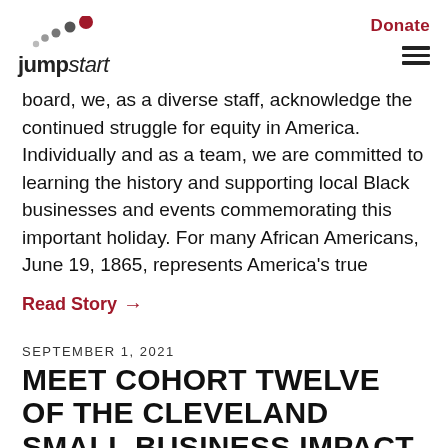jumpstart | Donate
board, we, as a diverse staff, acknowledge the continued struggle for equity in America. Individually and as a team, we are committed to learning the history and supporting local Black businesses and events commemorating this important holiday. For many African Americans, June 19, 1865, represents America’s true
Read Story →
SEPTEMBER 1, 2021
MEET COHORT TWELVE OF THE CLEVELAND SMALL BUSINESS IMPACT PROGRAM